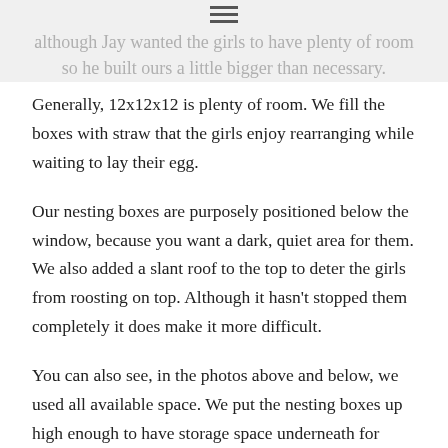although Jay wanted the girls to have plenty of room so he built ours a little bigger than necessary.
Generally, 12x12x12 is plenty of room.  We fill the boxes with straw that the girls enjoy rearranging while waiting to lay their egg.
Our nesting boxes are purposely positioned below the window, because you want a dark, quiet area for them. We also added a slant roof to the top to deter the girls from roosting on top.  Although it hasn't stopped them completely it does make it more difficult.
You can also see, in the photos above and below, we used all available space.  We put the nesting boxes up high enough to have storage space underneath for small cans of feed.  Also, the door to the outdoor run is